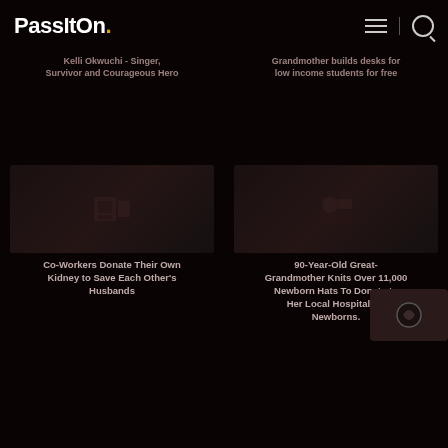PassItOn.
Kelli Okwuchi - Singer, Survivor and Courageous Hero
Grandmother builds desks for low income students for free
[Figure (photo): Dark thumbnail image of a PassItOn story card]
Co-Workers Donate Their Own Kidney to Save Each Other's Husbands
[Figure (photo): Dark thumbnail image of a PassItOn story card]
90-Year-Old Great-Grandmother Knits Over 11,000 Newborn Hats To Donate to Her Local Hospital for Newborns.